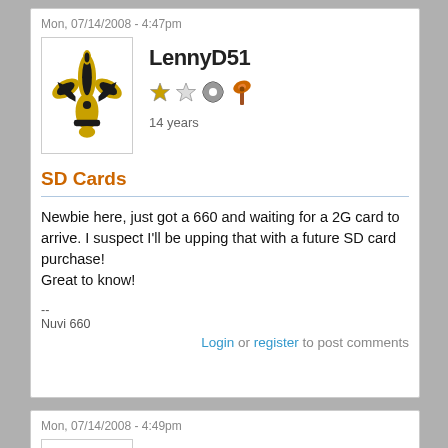Mon, 07/14/2008 - 4:47pm
[Figure (illustration): New Orleans Saints fleur-de-lis logo in black and gold]
LennyD51
[Figure (illustration): User badges: two stars and two icon badges]
14 years
SD Cards
Newbie here, just got a 660 and waiting for a 2G card to arrive. I suspect I'll be upping that with a future SD card purchase!
Great to know!
--
Nuvi 660
Login or register to post comments
Mon, 07/14/2008 - 4:49pm
[Figure (illustration): New Orleans Saints fleur-de-lis logo in black and gold]
LennyD51
[Figure (illustration): User badges: two stars and two icon badges]